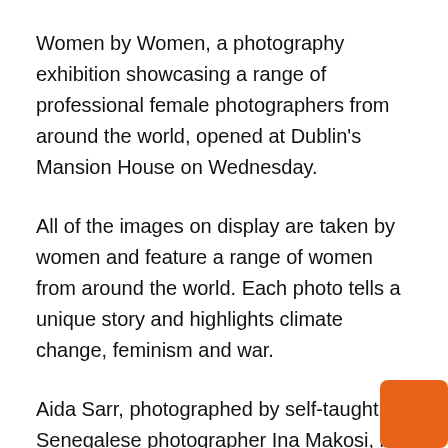Women by Women, a photography exhibition showcasing a range of professional female photographers from around the world, opened at Dublin’s Mansion House on Wednesday.
All of the images on display are taken by women and feature a range of women from around the world. Each photo tells a unique story and highlights climate change, feminism and war.
Aida Sarr, photographed by self-taught Senegalese photographer Ina Makosi, is a community development worker and matron at the local ‘health hut’ on Maya Island, Senegal. “When I arrived here in 1998, there were a lot of trees,” says Aida Sarr, 40, “but today you can